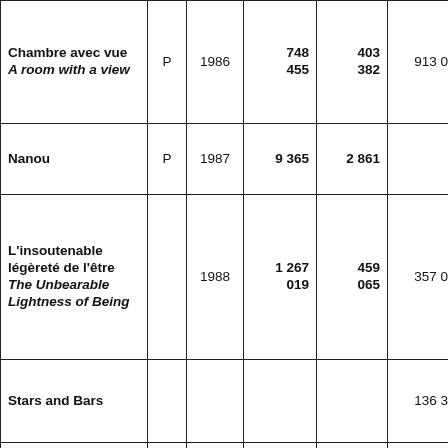| Chambre avec vue
A room with a view | P | 1986 | 748 455 | 403 382 | 913 092 | 685 047 |
| Nanou | P | 1987 | 9 365 | 2 861 |  |  |
| L'insoutenable légèreté de l'être
The Unbearable Lightness of Being |  | 1988 | 1 267 019 | 459 065 | 357 055 | 1 557 311 |
| Stars and Bars |  |  |  |  | 136 331 |  |
| Eversmile, New Jersey |  |  |  |  | 35 842 |  |
| My Left Foot |  | 1990 | 210 500 | 92 459 | 328 627 | 259 383 |
| Dernier des Mohicans... |  |  | 1 34... | 38... | 1 000... |  |